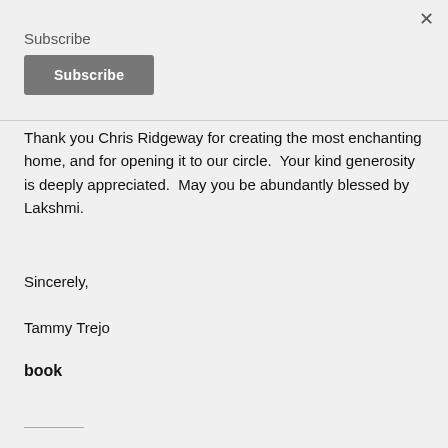Subscribe
Subscribe
Thank you Chris Ridgeway for creating the most enchanting home, and for opening it to our circle.  Your kind generosity is deeply appreciated.  May you be abundantly blessed by Lakshmi.
Sincerely,
Tammy Trejo
book